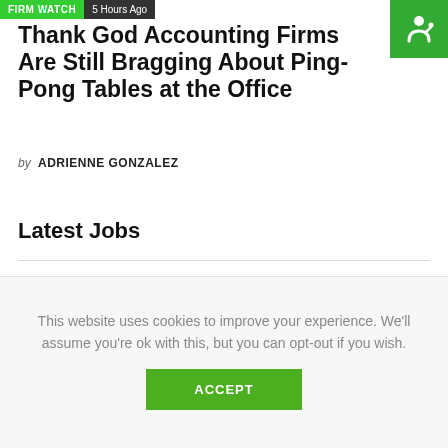FIRM WATCH · 5 HOURS AGO
Thank God Accounting Firms Are Still Bragging About Ping-Pong Tables at the Office
by ADRIENNE GONZALEZ
Latest Jobs
Senior Accountant Advisor Remote
Remote • Accountingfly
This website uses cookies to improve your experience. We'll assume you're ok with this, but you can opt-out if you wish. ACCEPT